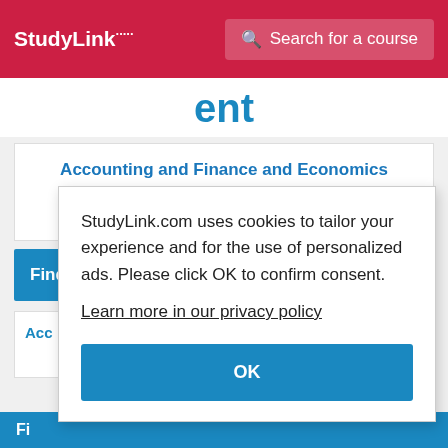StudyLink | Search for a course
ent
Accounting and Finance and Economics
BSc (Hons)
Find out more
Acc
StudyLink.com uses cookies to tailor your experience and for the use of personalized ads. Please click OK to confirm consent. Learn more in our privacy policy
OK
Fi